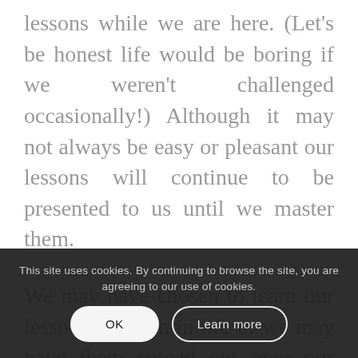lessons while we are here. (Let's be honest life would be boring if we weren't challenged occasionally!) Although it may not always be easy or pleasant our lessons will continue to be presented to us until we master them.
We may have chosen to learn our lessons early on in life or we may have them spread out over our life. Whatever is the case you have chosen for it to be this way. Whatever your lessons are they may not be the same as anyone else. One thing you can be assured of is that your lessons will be uniquely challenging
This site uses cookies. By continuing to browse the site, you are agreeing to our use of cookies.